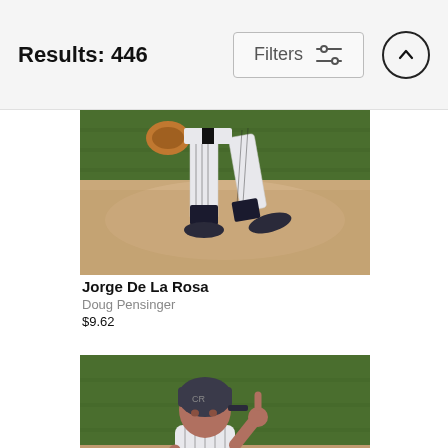Results: 446
[Figure (photo): Baseball pitcher on mound, lower body visible — white pinstripe uniform, black cleats, orange mitt, green grass background. Jorge De La Rosa photo by Doug Pensinger.]
Jorge De La Rosa
Doug Pensinger
$9.62
[Figure (photo): Baseball player in Colorado Rockies pinstripe uniform and batting helmet, gesture with hand, dirt and white baseline visible. Partial view, cropped.]